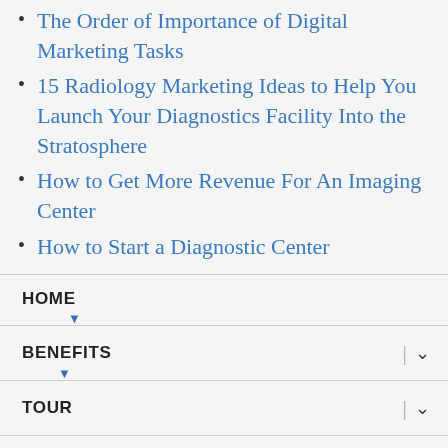The Order of Importance of Digital Marketing Tasks
15 Radiology Marketing Ideas to Help You Launch Your Diagnostics Facility Into the Stratosphere
How to Get More Revenue For An Imaging Center
How to Start a Diagnostic Center
HOME
BENEFITS
TOUR